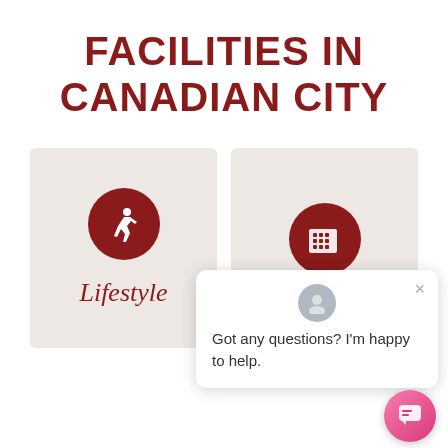FACILITIES IN CANADIAN CITY
[Figure (infographic): Two beige cards side by side. Left card has a dark red circle with a white running/lifestyle figure icon and label 'Lifestyle'. Right card is partially visible with a dark red building/office icon circle. A chat popup overlay shows an avatar, close button, and text 'Got any questions? I'm happy to help.' A pink gradient chat button is at bottom right.]
Got any questions? I'm happy to help.